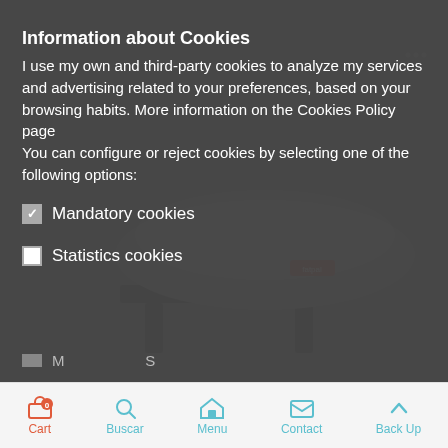[Figure (screenshot): E-commerce website background showing a grey bean bag / lounge chair product on a grey background, partially visible behind a cookie consent modal overlay. A script-style logo with 'KEY' is faintly visible at the top.]
Information about Cookies
I use my own and third-party cookies to analyze my services and advertising related to your preferences, based on your browsing habits. More information on the Cookies Policy page You can configure or reject cookies by selecting one of the following options:
Mandatory cookies
Statistics cookies
Marketing and Social network cookies (partially visible)
DENY ALL
ACCEPT CURRENT SELECTION
Cart   Buscar   Menu   Contact   Back Up